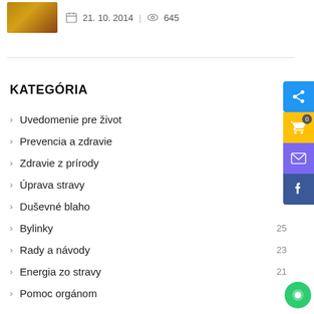[Figure (photo): Small thumbnail image with warm orange-brown gradient tones]
21. 10. 2014 | 645
KATEGÓRIA
Uvedomenie pre život
Prevencia a zdravie
Zdravie z prírody
Úprava stravy
Duševné blaho
Bylinky 25
Rady a návody 23
Energia zo stravy 21
Pomoc orgánom